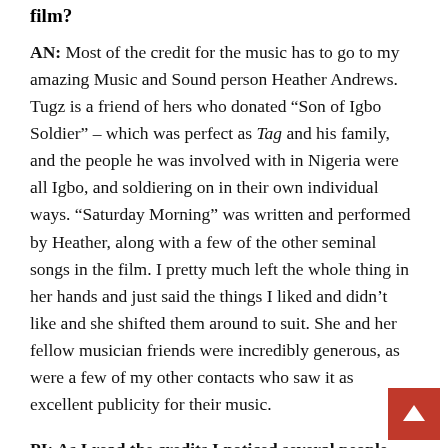film?
AN: Most of the credit for the music has to go to my amazing Music and Sound person Heather Andrews. Tugz is a friend of hers who donated “Son of Igbo Soldier” – which was perfect as Tag and his family, and the people he was involved with in Nigeria were all Igbo, and soldiering on in their own individual ways. “Saturday Morning” was written and performed by Heather, along with a few of the other seminal songs in the film. I pretty much left the whole thing in her hands and just said the things I liked and didn’t like and she shifted them around to suit. She and her fellow musician friends were incredibly generous, as were a few of my other contacts who saw it as excellent publicity for their music.
PI: As I read the credits I noticed several people with last name “Nwandu” how important was it to have the su of your relatives on this film?